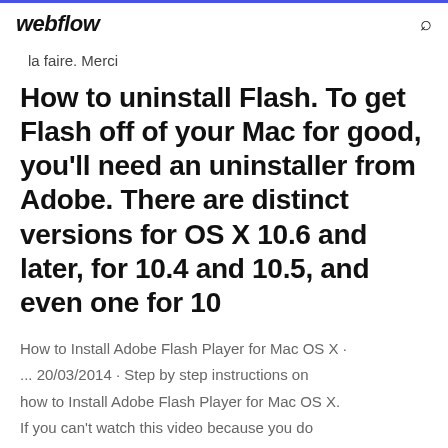webflow
la faire. Merci
How to uninstall Flash. To get Flash off of your Mac for good, you’ll need an uninstaller from Adobe. There are distinct versions for OS X 10.6 and later, for 10.4 and 10.5, and even one for 10
How to Install Adobe Flash Player for Mac OS X · ... 20/03/2014 · Step by step instructions on how to Install Adobe Flash Player for Mac OS X. If you can’t watch this video because you do